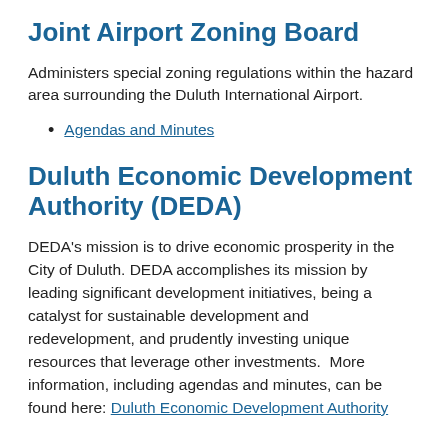Joint Airport Zoning Board
Administers special zoning regulations within the hazard area surrounding the Duluth International Airport.
Agendas and Minutes
Duluth Economic Development Authority (DEDA)
DEDA's mission is to drive economic prosperity in the City of Duluth. DEDA accomplishes its mission by leading significant development initiatives, being a catalyst for sustainable development and redevelopment, and prudently investing unique resources that leverage other investments.  More information, including agendas and minutes, can be found here: Duluth Economic Development Authority